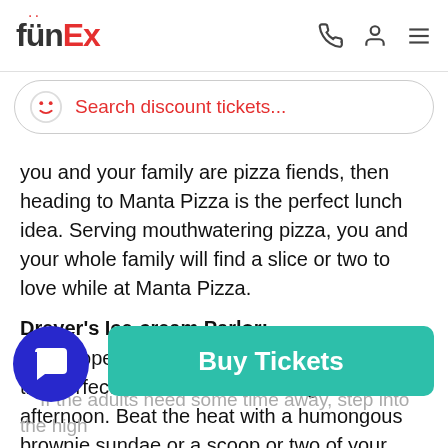FunEx
[Figure (screenshot): Search discount tickets input bar with FunEx smiley icon]
you and your family are pizza fiends, then heading to Manta Pizza is the perfect lunch idea. Serving mouthwatering pizza, you and your whole family will find a slice or two to love while at Manta Pizza.
Dreyer's Ice-cream Parlor:
Newly opened, Dreyer's Ice-Cream Parlor is the perfect cool-down treat during the afternoon. Beat the heat with a humongous brownie sundae or a scoop or two of your favorite ice cream flavors. You can even get your cone hand-dipped to add even more deliciousness to the mix.
If the adults need some time away, step into the high